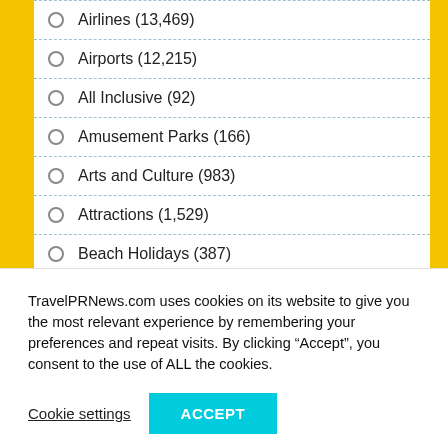Airlines (13,469)
Airports (12,215)
All Inclusive (92)
Amusement Parks (166)
Arts and Culture (983)
Attractions (1,529)
Beach Holidays (387)
Biking (58)
Business (17,550)
TravelPRNews.com uses cookies on its website to give you the most relevant experience by remembering your preferences and repeat visits. By clicking “Accept”, you consent to the use of ALL the cookies.